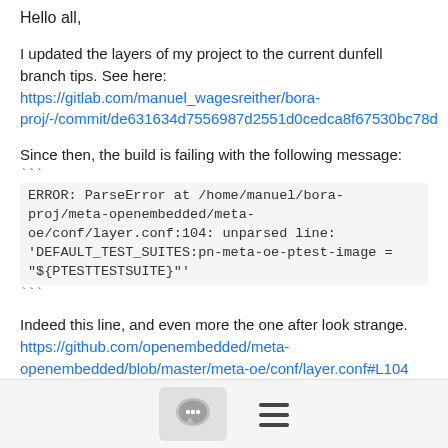Hello all,
I updated the layers of my project to the current dunfell branch tips. See here: https://gitlab.com/manuel_wagesreither/bora-proj/-/commit/de631634d7556987d2551d0cedca8f67530bc78d
Since then, the build is failing with the following message:
```
ERROR: ParseError at /home/manuel/bora-proj/meta-openembedded/meta-oe/conf/layer.conf:104: unparsed line: 'DEFAULT_TEST_SUITES:pn-meta-oe-ptest-image = "${PTESTTESTSUITE}"'
```
Indeed this line, and even more the one after look strange. https://github.com/openembedded/meta-openembedded/blob/master/meta-oe/conf/layer.conf#L104
```
DEFAULT_TEST_SUITES:pn-meta-oe-ptest-image = "${PTESTTESTSUITE}"
[Figure (other): Page footer with chat/comment icon button and hamburger menu icon]